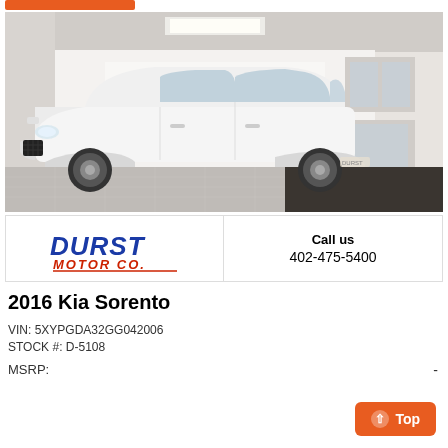[Figure (photo): White 2016 Kia Sorento SUV parked inside Durst Motor Co. dealership showroom. A large banner with 'DURST' in blue letters is visible in the background. The car is white and faces left.]
[Figure (logo): Durst Motor Co. logo in blue and red italic font]
Call us
402-475-5400
2016 Kia Sorento
VIN: 5XYPGDA32GG042006
STOCK #: D-5108
MSRP: